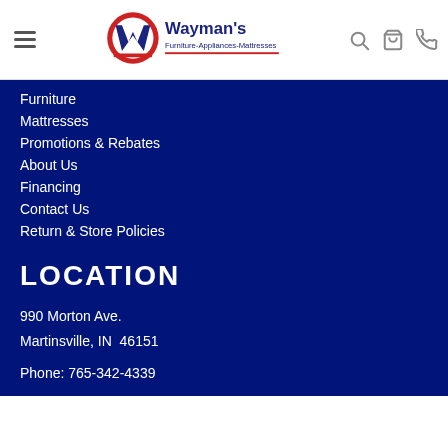[Figure (logo): Wayman's Furniture-Appliances-Mattresses logo with circular W emblem in red and dark blue]
Furniture
Mattresses
Promotions & Rebates
About Us
Financing
Contact Us
Return & Store Policies
LOCATION
990 Morton Ave.
Martinsville, IN  46151
Phone: 765-342-4339